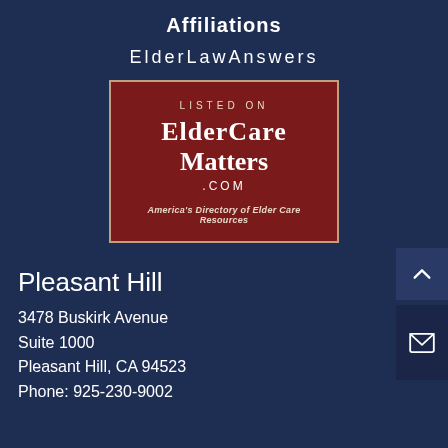Affiliations
ElderLawAnswers
[Figure (logo): ElderCare Matters .com badge — dark red background with white border. Text: LISTED ON / ElderCare Matters .COM / America's Directory of Elder Care Resources]
Pleasant Hill
3478 Buskirk Avenue
Suite 1000
Pleasant Hill, CA 94523
Phone: 925-230-9002